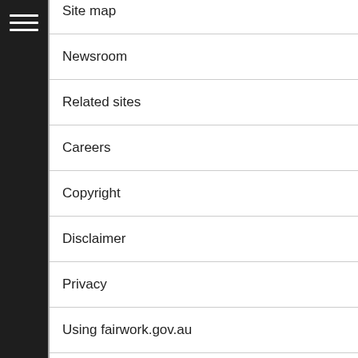Site map
Newsroom
Related sites
Careers
Copyright
Disclaimer
Privacy
Using fairwork.gov.au